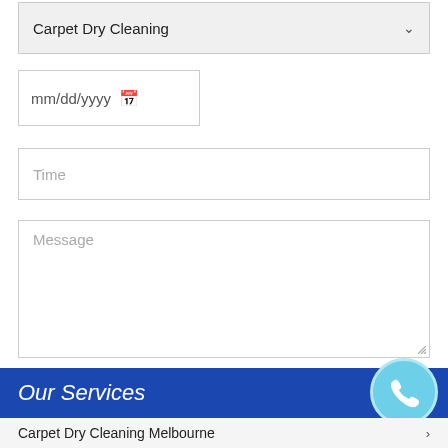Carpet Dry Cleaning
mm/dd/yyyy
Time
Message
Send
Our Services
Carpet Dry Cleaning Melbourne